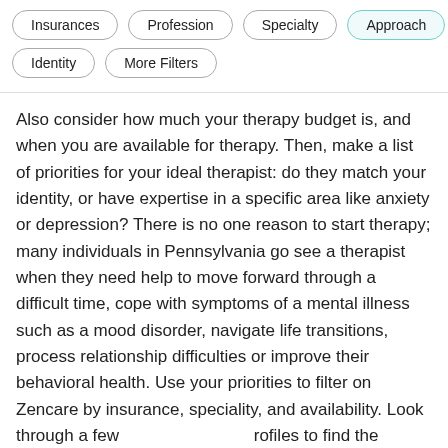Insurances | Profession | Specialty | Approach | Identity | More Filters
Also consider how much your therapy budget is, and when you are available for therapy. Then, make a list of priorities for your ideal therapist: do they match your identity, or have expertise in a specific area like anxiety or depression? There is no one reason to start therapy; many individuals in Pennsylvania go see a therapist when they need help to move forward through a difficult time, cope with symptoms of a mental illness such as a mood disorder, navigate life transitions, process relationship difficulties or improve their behavioral health. Use your priorities to filter on Zencare by insurance, speciality, and availability. Look through a few profiles to find the therapist you might click with, watch their introductory videos, and book a free call to find a great personal fit!